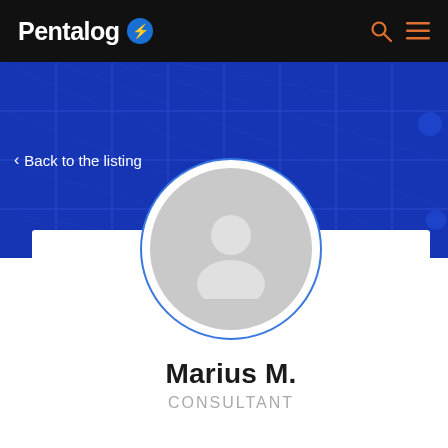Pentalog
< Back to the listing
[Figure (illustration): Generic user avatar placeholder circle with grey background and white person silhouette icon, surrounded by a blue border ring]
Marius M.
CONSULTANT